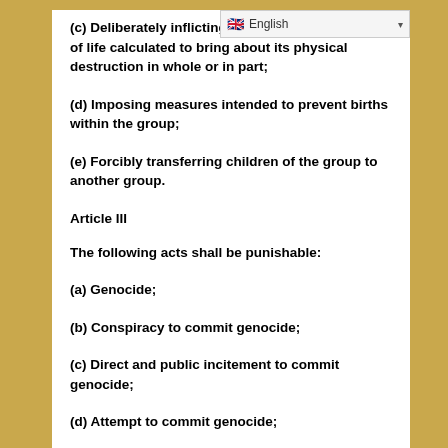English
(c) Deliberately inflicting on the group conditions of life calculated to bring about its physical destruction in whole or in part;
(d) Imposing measures intended to prevent births within the group;
(e) Forcibly transferring children of the group to another group.
Article III
The following acts shall be punishable:
(a) Genocide;
(b) Conspiracy to commit genocide;
(c) Direct and public incitement to commit genocide;
(d) Attempt to commit genocide;